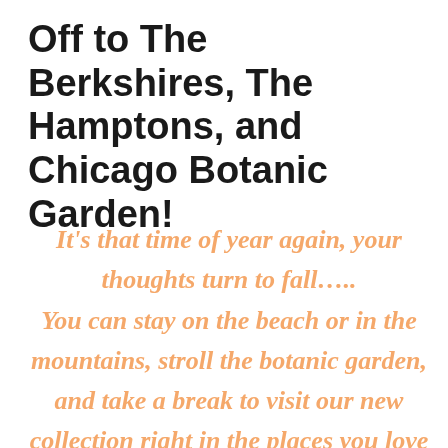Off to The Berkshires, The Hamptons, and Chicago Botanic Garden!
It's that time of year again, your thoughts turn to fall..... You can stay on the beach or in the mountains, stroll the botanic garden, and take a break to visit our new collection right in the places you love the most!